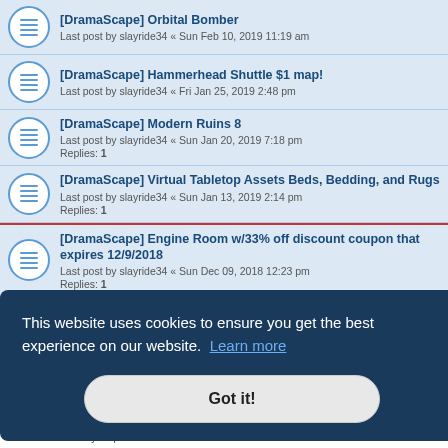[DramaScape] Orbital Bomber
Last post by slayride34 « Sun Feb 10, 2019 11:19 am
[DramaScape] Hammerhead Shuttle $1 map!
Last post by slayride34 « Fri Jan 25, 2019 2:48 pm
[DramaScape] Modern Ruins 8
Last post by slayride34 « Sun Jan 20, 2019 7:18 pm
Replies: 1
[DramaScape] Virtual Tabletop Assets Beds, Bedding, and Rugs
Last post by slayride34 « Sun Jan 13, 2019 2:14 pm
Replies: 1
[DramaScape] Engine Room w/33% off discount coupon that expires 12/9/2018
Last post by slayride34 « Sun Dec 09, 2018 12:23 pm
Replies: 1
New Topic
This website uses cookies to ensure you get the best experience on our website. Learn more
Got it!
You cannot edit your posts in this forum
You cannot delete your posts in this forum